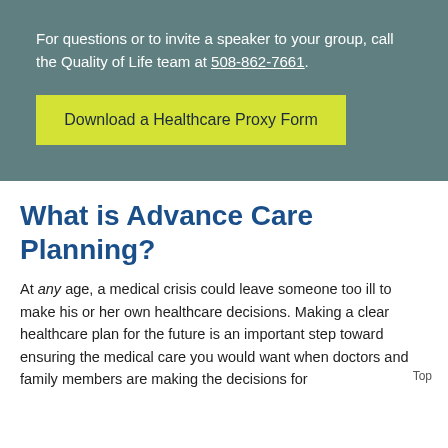For questions or to invite a speaker to your group, call the Quality of Life team at 508-862-7661.
Download a Healthcare Proxy Form
What is Advance Care Planning?
At any age, a medical crisis could leave someone too ill to make his or her own healthcare decisions. Making a clear healthcare plan for the future is an important step toward ensuring the medical care you would want when doctors and family members are making the decisions for
Top